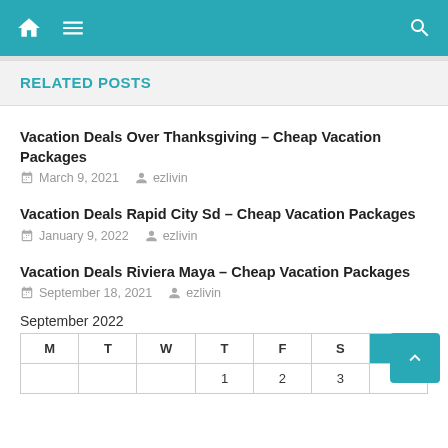Navigation bar with home icon, menu icon, and search icon
RELATED POSTS
Vacation Deals Over Thanksgiving – Cheap Vacation Packages
March 9, 2021   ezlivin
Vacation Deals Rapid City Sd – Cheap Vacation Packages
January 9, 2022   ezlivin
Vacation Deals Riviera Maya – Cheap Vacation Packages
September 18, 2021   ezlivin
September 2022
| M | T | W | T | F | S | S |
| --- | --- | --- | --- | --- | --- | --- |
|  |  |  | 1 | 2 | 3 | 4 |